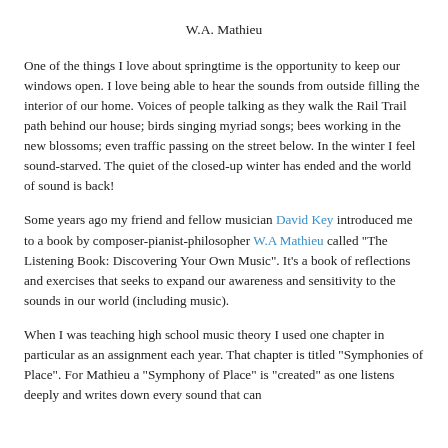W.A. Mathieu
One of the things I love about springtime is the opportunity to keep our windows open. I love being able to hear the sounds from outside filling the interior of our home. Voices of people talking as they walk the Rail Trail path behind our house; birds singing myriad songs; bees working in the new blossoms; even traffic passing on the street below. In the winter I feel sound-starved. The quiet of the closed-up winter has ended and the world of sound is back!
Some years ago my friend and fellow musician David Key introduced me to a book by composer-pianist-philosopher W.A Mathieu called "The Listening Book: Discovering Your Own Music". It's a book of reflections and exercises that seeks to expand our awareness and sensitivity to the sounds in our world (including music).
When I was teaching high school music theory I used one chapter in particular as an assignment each year. That chapter is titled "Symphonies of Place". For Mathieu a "Symphony of Place" is "created" as one listens deeply and writes down every sound that can